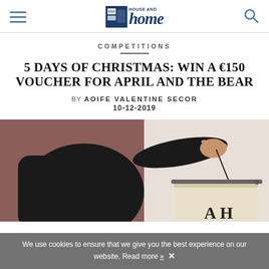House and Home
COMPETITIONS
5 DAYS OF CHRISTMAS: WIN A €150 VOUCHER FOR APRIL AND THE BEAR
BY AOIFE VALENTINE SECOR
10-12-2019
[Figure (photo): Person hanging a fabric banner with letters 'AH' on a wall. Background is split: dusty rose/mauve on the left, cream/off-white on the right. Person is wearing a dark long-sleeve top.]
We use cookies to ensure that we give you the best experience on our website. Read more »  ✕